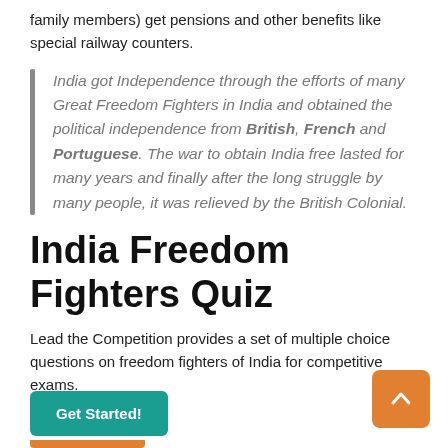family members) get pensions and other benefits like special railway counters.
India got Independence through the efforts of many Great Freedom Fighters in India and obtained the political independence from British, French and Portuguese. The war to obtain India free lasted for many years and finally after the long struggle by many people, it was relieved by the British Colonial.
India Freedom Fighters Quiz
Lead the Competition provides a set of multiple choice questions on freedom fighters of India for competitive exams.
Get Started!